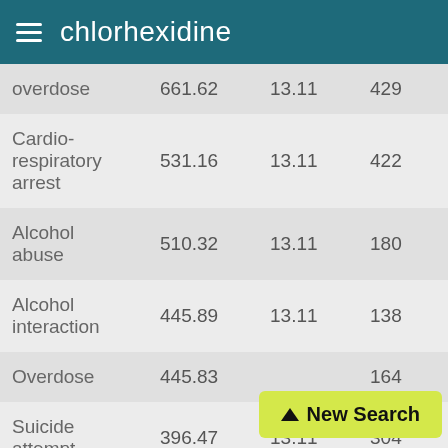chlorhexidine
|  |  |  |  |
| --- | --- | --- | --- |
| overdose | 661.62 | 13.11 | 429 |
| Cardio-respiratory arrest | 531.16 | 13.11 | 422 |
| Alcohol abuse | 510.32 | 13.11 | 180 |
| Alcohol interaction | 445.89 | 13.11 | 138 |
| Overdose | 445.83 |  | 164 |
| Suicide attempt | 396.47 | 13.11 | 304 |
| Intentional |  |  |  |